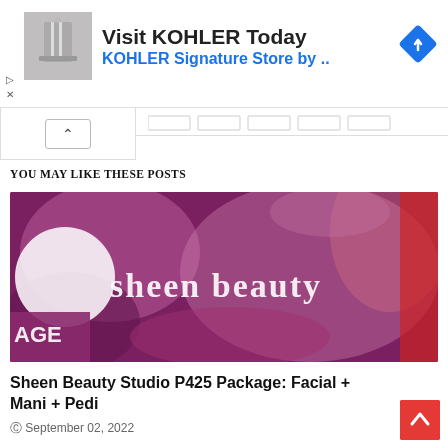[Figure (screenshot): Advertisement banner for KOHLER: 'Visit KOHLER Today / KOHLER Signature Store by ..' with a bathroom product thumbnail and a blue diamond navigation icon]
YOU MAY LIKE THESE POSTS
[Figure (photo): Blurred photo of Sheen Beauty Studio with purple/pink decor and 'sheen beauty' text overlay]
Sheen Beauty Studio P425 Package: Facial + Mani + Pedi
September 02, 2022